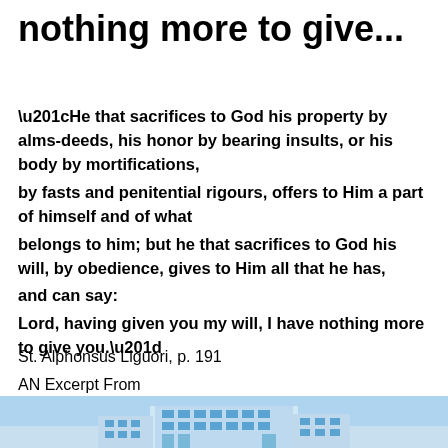nothing more to give...
“He that sacrifices to God his property by alms-deeds, his honor by bearing insults, or his body by mortifications, by fasts and penitential rigours, offers to Him a part of himself and of what belongs to him; but he that sacrifices to God his will, by obedience, gives to Him all that he has, and can say: Lord, having given you my will, I have nothing more to give you.”
St. Alphonsus Liguori, p. 191
AN Excerpt From
The Sermons of St. Alphonsus Liguiori
[Figure (photo): Partial view of a building exterior with blue sky, shown at the bottom of the page.]